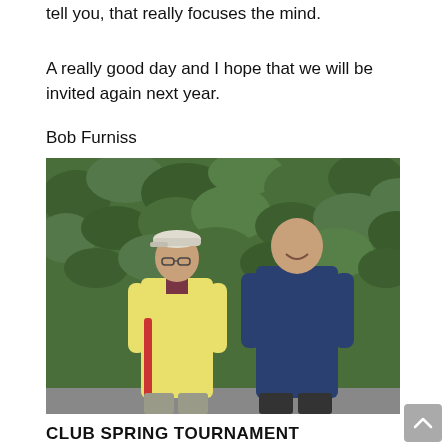tell you, that really focuses the mind.
A really good day and I hope that we will be invited again next year.
Bob Furniss
[Figure (photo): Two older men standing in front of a tall green hedge. The man on the left wears a white cap and yellow sweater, holding a red-handled implement. The man on the right wears a navy blue long-sleeve top and smiles at the camera.]
CLUB SPRING TOURNAMENT